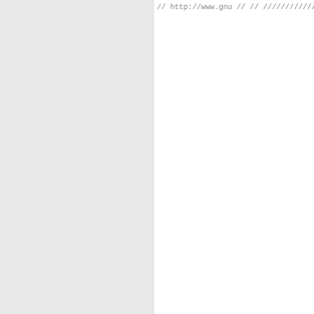[Figure (screenshot): Source code editor showing C++ code with includes, typedef, and function definition. Left portion shows gray panel (line numbers/gutter area). Right portion shows code with comment lines, include directives in green, typedef statement, and bool function beginning with do-if-else blocks.]